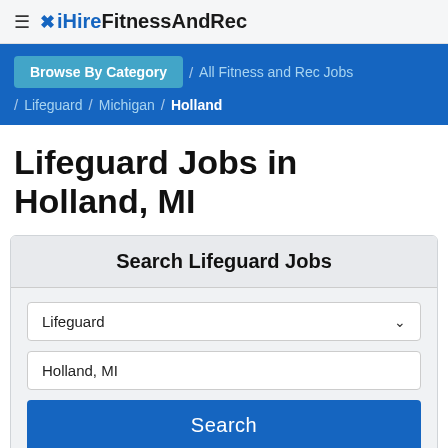≡ ✕ iHireFitnessAndRec
Browse By Category / All Fitness and Rec Jobs / Lifeguard / Michigan / Holland
Lifeguard Jobs in Holland, MI
Search Lifeguard Jobs
Lifeguard [dropdown]
Holland, MI
Search